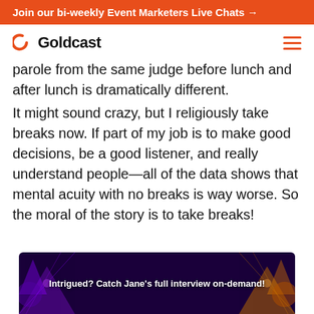Join our bi-weekly Event Marketers Live Chats →
[Figure (logo): Goldcast logo with orange crescent icon and bold 'Goldcast' wordmark, and hamburger menu icon in orange on right]
parole from the same judge before lunch and after lunch is dramatically different.
It might sound crazy, but I religiously take breaks now. If part of my job is to make good decisions, be a good listener, and really understand people—all of the data shows that mental acuity with no breaks is way worse. So the moral of the story is to take breaks!
[Figure (screenshot): Dark purple/navy promotional banner with decorative geometric art on left and right sides, center text: 'Intrigued? Catch Jane's full interview on-demand!']